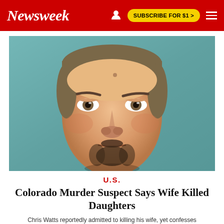Newsweek  SUBSCRIBE FOR $1 >
[Figure (photo): Close-up mugshot photo of a man with short dark gray-brown hair, hazel eyes, and a dark goatee beard, against a teal/green background]
U.S.
Colorado Murder Suspect Says Wife Killed Daughters
Chris Watts reportedly admitted to killing his wife, yet confesses